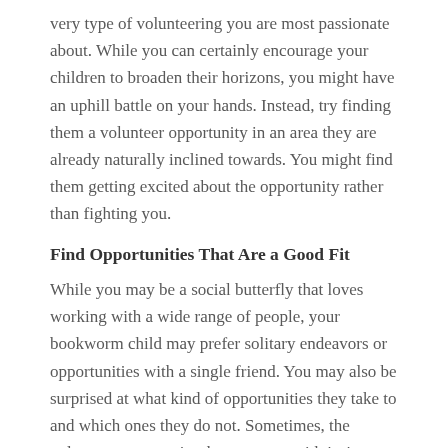very type of volunteering you are most passionate about. While you can certainly encourage your children to broaden their horizons, you might have an uphill battle on your hands. Instead, try finding them a volunteer opportunity in an area they are already naturally inclined towards. You might find them getting excited about the opportunity rather than fighting you.
Find Opportunities That Are a Good Fit
While you may be a social butterfly that loves working with a wide range of people, your bookworm child may prefer solitary endeavors or opportunities with a single friend. You may also be surprised at what kind of opportunities they take to and which ones they do not. Sometimes, the volunteer opportunity they connect with isn't as much about what they are doing as how they are doing it.
Try Several Different Things
something more from content continues below...